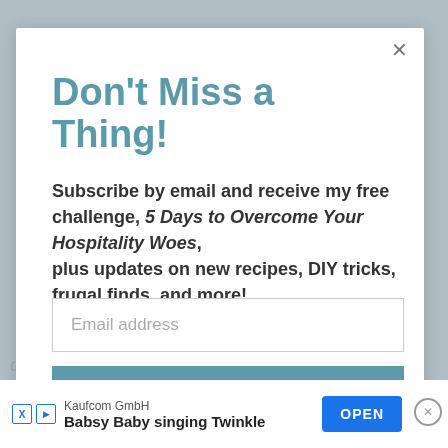Don't Miss a Thing!
Subscribe by email and receive my free challenge, 5 Days to Overcome Your Hospitality Woes, plus updates on new recipes, DIY tricks, frugal finds, and more!
Email address
SUBSCRIBE
[Figure (screenshot): Advertisement bar at bottom: Kaufcom GmbH - Babsy Baby singing Twinkle with OPEN button]